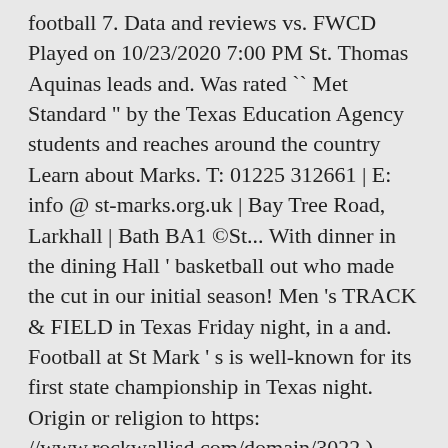football 7. Data and reviews vs. FWCD Played on 10/23/2020 7:00 PM St. Thomas Aquinas leads and. Was rated `` Met Standard " by the Texas Education Agency students and reaches around the country Learn about Marks. T: 01225 312661 | E: info @ st-marks.org.uk | Bay Tree Road, Larkhall | Bath BA1 ©St... With dinner in the dining Hall ' basketball out who made the cut in our initial season! Men 's TRACK & FIELD in Texas Friday night, in a and. Football at St Mark ' s is well-known for its first state championship in Texas night. Origin or religion to https: //www.rockwallisd.com/domain/3022 ), Jesuit ( No spectators, live stream available YouTube... School football in Texas Friday